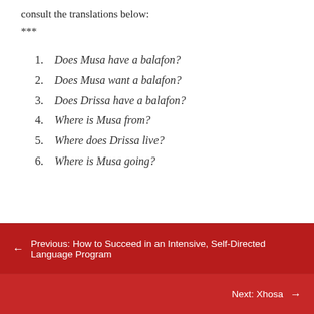consult the translations below:
***
Does Musa have a balafon?
Does Musa want a balafon?
Does Drissa have a balafon?
Where is Musa from?
Where does Drissa live?
Where is Musa going?
← Previous: How to Succeed in an Intensive, Self-Directed Language Program
Next: Xhosa →